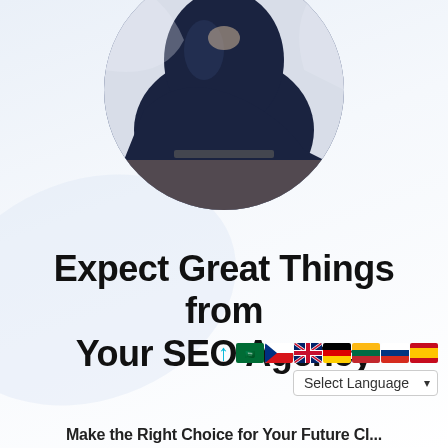[Figure (photo): Circular cropped photo of a person sitting cross-legged, wearing dark clothing, appearing to be working on a laptop, photographed from above/side angle against a light background]
Expect Great Things from Your SEO Agency
[Figure (screenshot): Language selector UI overlay with multiple country flags (Saudi Arabia, Slovakia/Czech, UK, Germany, Lithuania, Russia, Spain) and an upward arrow icon, plus a 'Select Language' dropdown box]
Make the Right Choice for Your Future Cl...